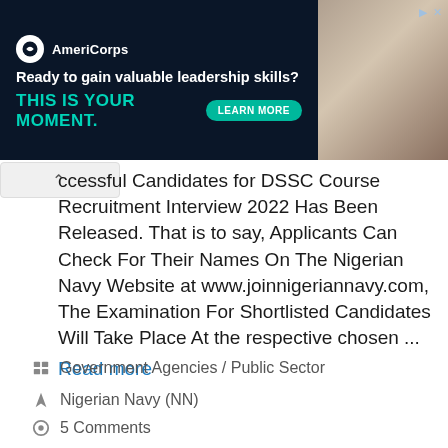[Figure (other): AmeriCorps advertisement banner: dark navy background with logo, text 'Ready to gain valuable leadership skills?' and 'THIS IS YOUR MOMENT.' in teal, a 'LEARN MORE' button, and a photo of people on the right side]
ccessful Candidates for DSSC Course Recruitment Interview 2022 Has Been Released. That is to say, Applicants Can Check For Their Names On The Nigerian Navy Website at www.joinnigeriannavy.com, The Examination For Shortlisted Candidates Will Take Place At the respective chosen ...
Read more
Government Agencies / Public Sector
Nigerian Navy (NN)
5 Comments